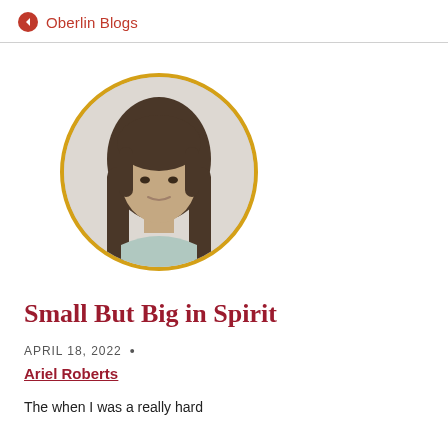Oberlin Blogs
[Figure (photo): Circular profile photo of a young woman with long brown hair, smiling, against a white background, framed with a gold/yellow circular border.]
Small But Big in Spirit
APRIL 18, 2022 •
Ariel Roberts
The when I was a really hard